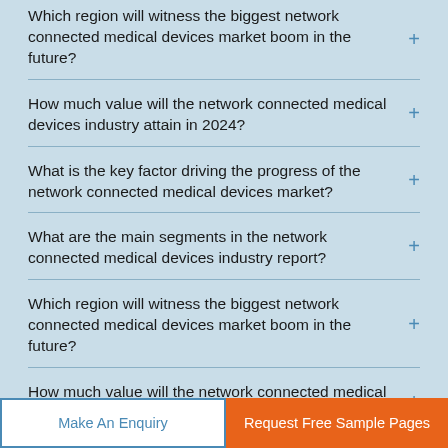Which region will witness the biggest network connected medical devices market boom in the future?
How much value will the network connected medical devices industry attain in 2024?
What is the key factor driving the progress of the network connected medical devices market?
What are the main segments in the network connected medical devices industry report?
Which region will witness the biggest network connected medical devices market boom in the future?
How much value will the network connected medical devices industry attain in 2024?
Make An Enquiry
Request Free Sample Pages